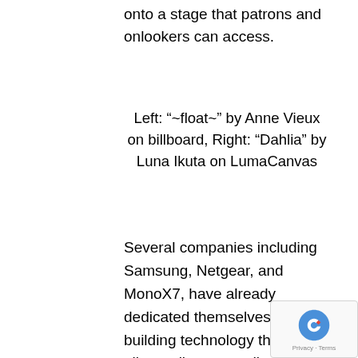onto a stage that patrons and onlookers can access.
Left: “~float~” by Anne Vieux on billboard, Right: “Dahlia” by Luna Ikuta on LumaCanvas
Several companies including Samsung, Netgear, and MonoX7, have already dedicated themselves to building technology that will allow collectors to display their art at home. Though many are still in the process of refining their displays, minimizing electrical usage and global impact,